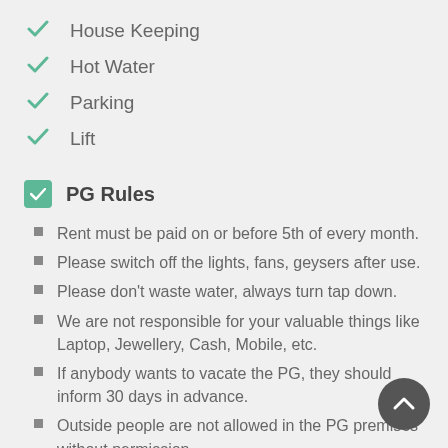House Keeping
Hot Water
Parking
Lift
PG Rules
Rent must be paid on or before 5th of every month.
Please switch off the lights, fans, geysers after use.
Please don't waste water, always turn tap down.
We are not responsible for your valuable things like Laptop, Jewellery, Cash, Mobile, etc.
If anybody wants to vacate the PG, they should inform 30 days in advance.
Outside people are not allowed in the PG premises without permission.
Drinking and Smoking is not allowed inside the PG.